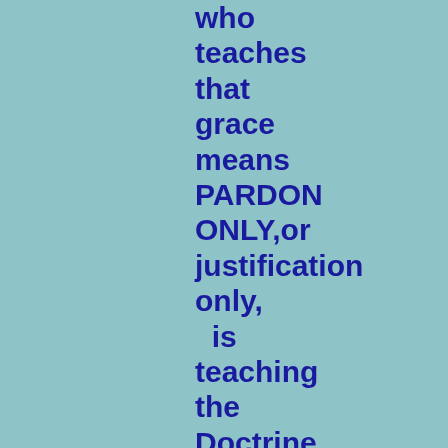who teaches that grace means PARDON ONLY,or justification only,  is teaching the Doctrine  of the Nicolaitans which Godespecially